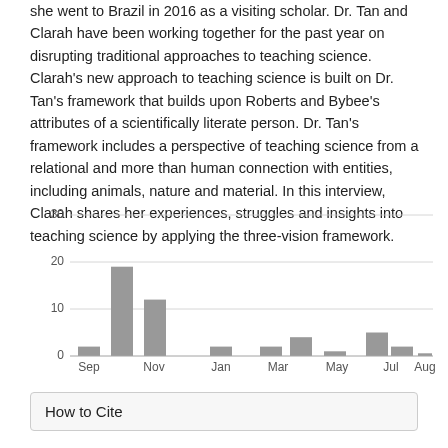she went to Brazil in 2016 as a visiting scholar. Dr. Tan and Clarah have been working together for the past year on disrupting traditional approaches to teaching science. Clarah's new approach to teaching science is built on Dr. Tan's framework that builds upon Roberts and Bybee's attributes of a scientifically literate person. Dr. Tan's framework includes a perspective of teaching science from a relational and more than human connection with entities, including animals, nature and material. In this interview, Clarah shares her experiences, struggles and insights into teaching science by applying the three-vision framework.
[Figure (bar-chart): ]
How to Cite